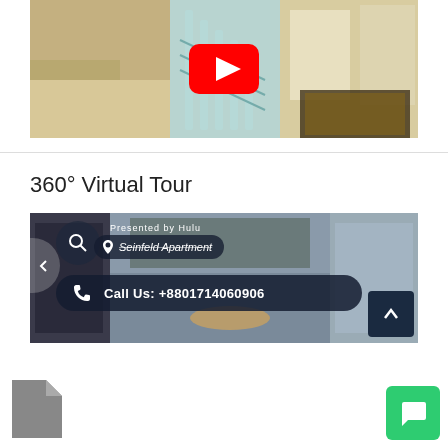[Figure (photo): Interior photo of a luxury apartment showing a glass spiral staircase, marble floors, and elegant furnishings, with a YouTube play button overlay in the center]
360° Virtual Tour
[Figure (screenshot): 360° virtual tour thumbnail showing an apartment interior (Seinfeld Apartment presented by Hulu) with overlaid UI elements: search icon, location pill, call button showing '+8801714060906', and navigation arrows]
[Figure (other): Document icon (gray file icon) at bottom left]
[Figure (other): Green chat/message button at bottom right]